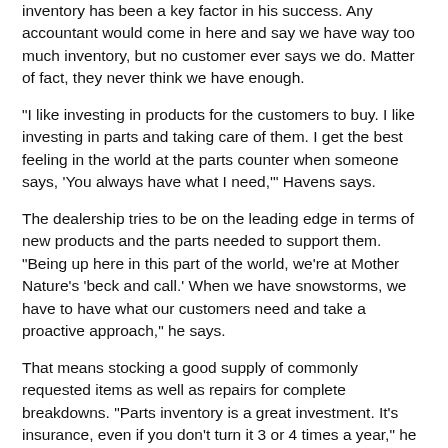inventory has been a key factor in his success. Any accountant would come in here and say we have way too much inventory, but no customer ever says we do. Matter of fact, they never think we have enough.
"I like investing in products for the customers to buy. I like investing in parts and taking care of them. I get the best feeling in the world at the parts counter when someone says, 'You always have what I need,'" Havens says.
The dealership tries to be on the leading edge in terms of new products and the parts needed to support them. "Being up here in this part of the world, we're at Mother Nature's 'beck and call.' When we have snowstorms, we have to have what our customers need and take a proactive approach," he says.
That means stocking a good supply of commonly requested items as well as repairs for complete breakdowns. "Parts inventory is a great investment. It's insurance, even if you don't turn it 3 or 4 times a year," he says.
For inventory planning, Havens relies on his experience and data